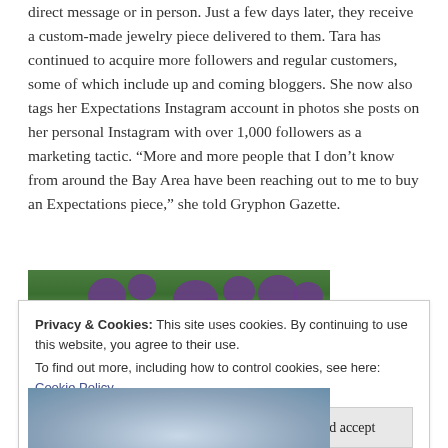direct message or in person. Just a few days later, they receive a custom-made jewelry piece delivered to them. Tara has continued to acquire more followers and regular customers, some of which include up and coming bloggers. She now also tags her Expectations Instagram account in photos she posts on her personal Instagram with over 1,000 followers as a marketing tactic. “More and more people that I don’t know from around the Bay Area have been reaching out to me to buy an Expectations piece,” she told Gryphon Gazette.
[Figure (photo): Photo of purple flowering bushes/vines with green foliage against a light background]
Privacy & Cookies: This site uses cookies. By continuing to use this website, you agree to their use.
To find out more, including how to control cookies, see here: Cookie Policy
[Figure (photo): Partial photo at bottom showing what appears to be a person with blue/purple tones]